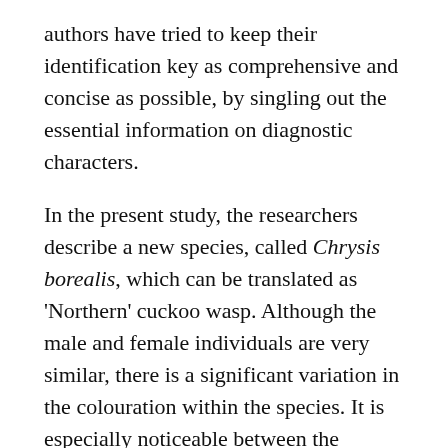authors have tried to keep their identification key as comprehensive and concise as possible, by singling out the essential information on diagnostic characters.
In the present study, the researchers describe a new species, called Chrysis borealis, which can be translated as 'Northern' cuckoo wasp. Although the male and female individuals are very similar, there is a significant variation in the colouration within the species. It is especially noticeable between the specimens collected from the northern localities and those from the southern ones. For instance, while the middle section of the body in southern specimens is either bright blue or